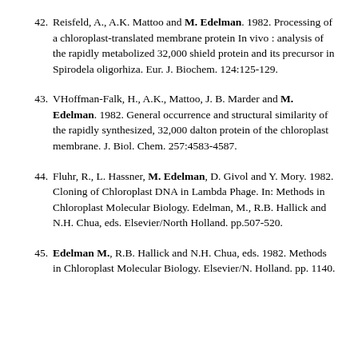42. Reisfeld, A., A.K. Mattoo and M. Edelman. 1982. Processing of a chloroplast-translated membrane protein In vivo : analysis of the rapidly metabolized 32,000 shield protein and its precursor in Spirodela oligorhiza. Eur. J. Biochem. 124:125-129.
43. VHoffman-Falk, H., A.K., Mattoo, J. B. Marder and M. Edelman. 1982. General occurrence and structural similarity of the rapidly synthesized, 32,000 dalton protein of the chloroplast membrane. J. Biol. Chem. 257:4583-4587.
44. Fluhr, R., L. Hassner, M. Edelman, D. Givol and Y. Mory. 1982. Cloning of Chloroplast DNA in Lambda Phage. In: Methods in Chloroplast Molecular Biology. Edelman, M., R.B. Hallick and N.H. Chua, eds. Elsevier/North Holland. pp.507-520.
45. Edelman M., R.B. Hallick and N.H. Chua, eds. 1982. Methods in Chloroplast Molecular Biology. Elsevier/N. Holland. pp. 1140.